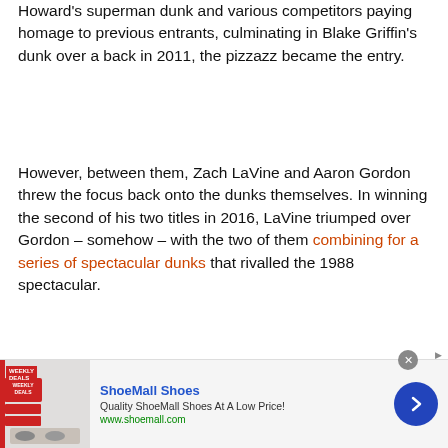Howard's superman dunk and various competitors paying homage to previous entrants, culminating in Blake Griffin's dunk over a back in 2011, the pizzazz became the entry.
However, between them, Zach LaVine and Aaron Gordon threw the focus back onto the dunks themselves. In winning the second of his two titles in 2016, LaVine triumped over Gordon – somehow – with the two of them combining for a series of spectacular dunks that rivalled the 1988 spectacular.
UNKNOWN EMBED: pre-parallax-advert
UNKNOWN EMBED: gms-lazy, gms-parallax-image
[Figure (other): Advertisement banner for ShoeMall Shoes — Weekly Deals badge, shoe product image, blue title 'ShoeMall Shoes', description 'Quality ShoeMall Shoes At A Low Price!', URL 'www.shoemall.com', blue circular arrow button, close X button]